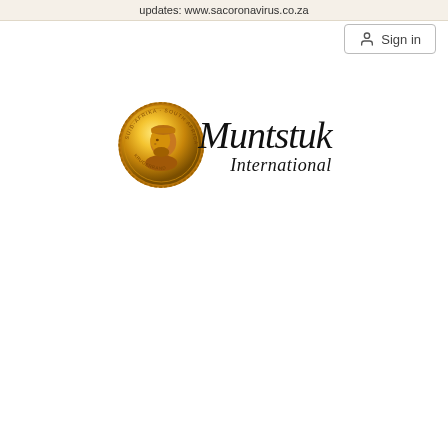updates: www.sacoronavirus.co.za
[Figure (logo): Muntstuk International logo featuring a gold Krugerrand coin on the left and stylized script text reading 'Muntstuk International' on the right]